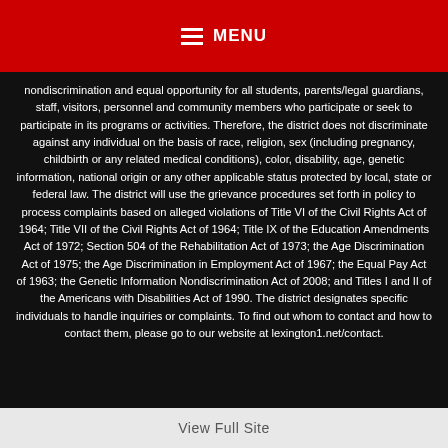MENU
nondiscrimination and equal opportunity for all students, parents/legal guardians, staff, visitors, personnel and community members who participate or seek to participate in its programs or activities. Therefore, the district does not discriminate against any individual on the basis of race, religion, sex (including pregnancy, childbirth or any related medical conditions), color, disability, age, genetic information, national origin or any other applicable status protected by local, state or federal law. The district will use the grievance procedures set forth in policy to process complaints based on alleged violations of Title VI of the Civil Rights Act of 1964; Title VII of the Civil Rights Act of 1964; Title IX of the Education Amendments Act of 1972; Section 504 of the Rehabilitation Act of 1973; the Age Discrimination Act of 1975; the Age Discrimination in Employment Act of 1967; the Equal Pay Act of 1963; the Genetic Information Nondiscrimination Act of 2008; and Titles I and II of the Americans with Disabilities Act of 1990. The district designates specific individuals to handle inquiries or complaints. To find out whom to contact and how to contact them, please go to our website at lexington1.net/contact.
View Full Site